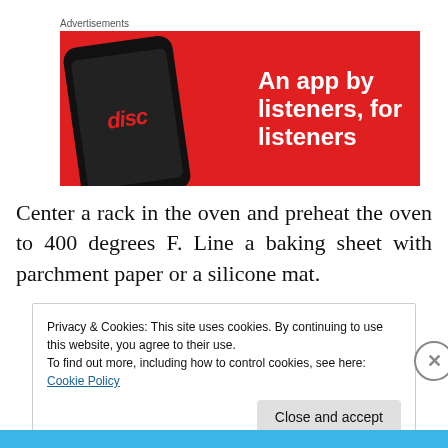[Figure (other): Advertisement banner with red background showing a smartphone with 'disc' app on screen and text 'An app by listeners, for listeners']
Center a rack in the oven and preheat the oven to 400 degrees F. Line a baking sheet with parchment paper or a silicone mat.
Privacy & Cookies: This site uses cookies. By continuing to use this website, you agree to their use.
To find out more, including how to control cookies, see here: Cookie Policy